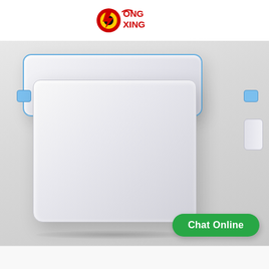[Figure (logo): HONG XING logo with red lightning bolt / check mark and circular emblem with red, yellow, and black colors, followed by text 'ONG XING' in red and black]
[Figure (photo): Product photo of a clear plastic food storage container with blue snap-lock lid on a grey background. The container is square/rectangular, translucent white plastic body with a blue-trimmed lid. A 'Chat Online' green button overlays the bottom-right corner.]